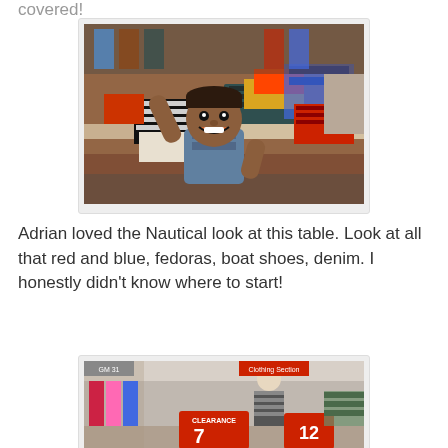covered!
[Figure (photo): A young boy smiling and waving in a clothing store, surrounded by folded clothes on display tables including plaid shirts, jeans, and colorful apparel.]
Adrian loved the Nautical look at this table. Look at all that red and blue, fedoras, boat shoes, denim. I honestly didn't know where to start!
[Figure (photo): Interior of a clothing store showing display tables with clothes, mannequins wearing striped shirts, and sale signs with numbers 7 and 12.]